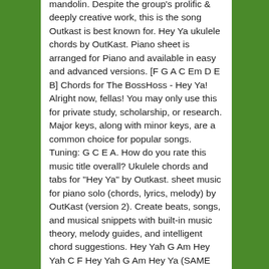mandolin. Despite the group's prolific & deeply creative work, this is the song Outkast is best known for. Hey Ya ukulele chords by OutKast. Piano sheet is arranged for Piano and available in easy and advanced versions. [F G A C Em D E B] Chords for The BossHoss - Hey Ya! Alright now, fellas! You may only use this for private study, scholarship, or research. Major keys, along with minor keys, are a common choice for popular songs. Tuning: G C E A. How do you rate this music title overall? Ukulele chords and tabs for "Hey Ya" by Outkast. sheet music for piano solo (chords, lyrics, melody) by OutKast (version 2). Create beats, songs, and musical snippets with built-in music theory, melody guides, and intelligent chord suggestions. Hey Yah G Am Hey Yah C F Hey Yah G Am Hey Ya (SAME CHORDS FOR BOTH VERSE AND CHORUS) Hey...